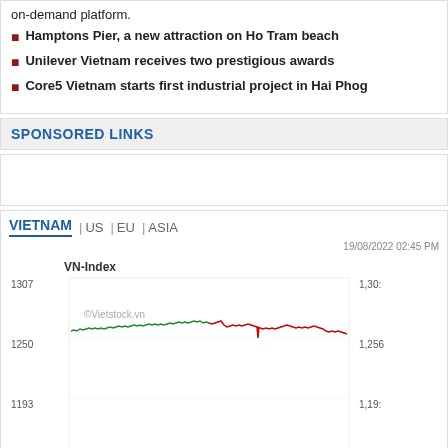on-demand platform.
Hamptons Pier, a new attraction on Ho Tram beach
Unilever Vietnam receives two prestigious awards
Core5 Vietnam starts first industrial project in Hai Phog
SPONSORED LINKS
[Figure (line-chart): VN-Index line chart from Mon to Fri, 19/08/2022 02:45 PM, showing values around 1270-1280, green line for gains (Mon-Wed) turning red (Thu-Fri)]